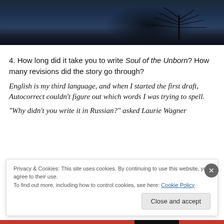[Figure (photo): Dark blue/night photo showing tree silhouettes reflected in water]
4. How long did it take you to write Soul of the Unborn? How many revisions did the story go through?
English is my third language, and when I started the first draft, Autocorrect couldn't figure out which words I was trying to spell.
“Why didn’t you write it in Russian?” asked Laurie Wagner
Privacy & Cookies: This site uses cookies. By continuing to use this website, you agree to their use.
To find out more, including how to control cookies, see here: Cookie Policy
Close and accept